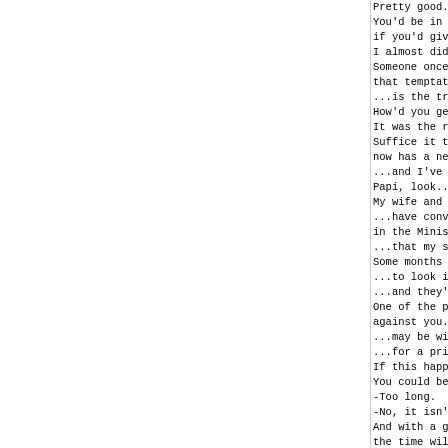Pretty good.
You'd be in much be
if you'd given them
I almost did.
Someone once said
that temptation res.
...is the true meas
How'd you get out o
It was the rankest
Suffice it to say t
now has a new house
...and I've become
Papi, look....
My wife and lawyer.
...have convinced c
in the Ministry of
...that my sentence
Some months back I
...to look into you
...and they've made
One of the principl
against you...
...may be willing t
...for a price.
If this happened, w
You could be out in
-Too long.
-No, it isn't.
And with a good job
the time will pass
Listen, my friend.
You owe me nothing.
Tell me what you wa
A boat.
I should have known
Papi, don't you rem
Clusiot.
Yeah.